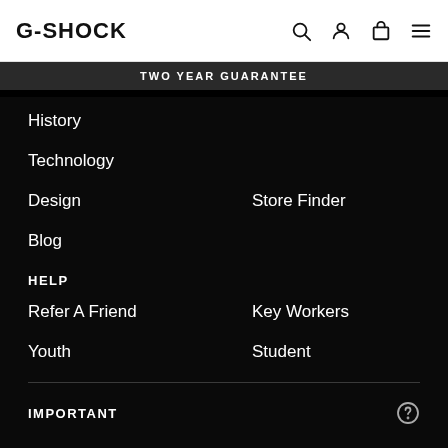G-SHOCK
TWO YEAR GUARANTEE
History
Technology
Design
Store Finder
Blog
HELP
Refer A Friend
Key Workers
Youth
Student
IMPORTANT